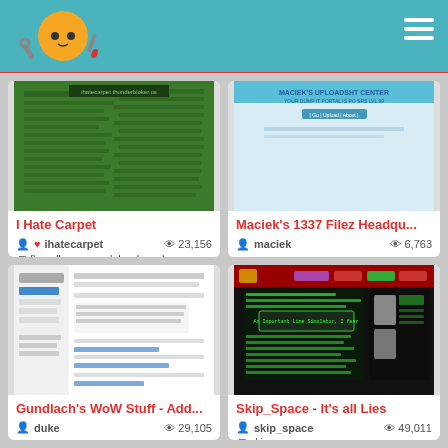Site catalog header with logo and hamburger menu
[Figure (screenshot): Screenshot of 'I Hate Carpet' website with green grass background and dark text]
I Hate Carpet
ihatecarpet  23,156
floor, floors, wood, hardwood, c...
[Figure (screenshot): Screenshot of Maciek's 1337 Filez HQ website with light blue/white background]
Maciek's 1337 Filez Headqu...
maciek  6,763
[Figure (screenshot): Screenshot of Gundlach's WoW Stuff page with white background and text content]
Gundlach's WoW Stuff - Add...
duke  29,105
[Figure (screenshot): Screenshot of Skip_Space dark website with red header and green matrix-style text on black]
Skip_Space - It's all Lies
skip_space  49,011
skip